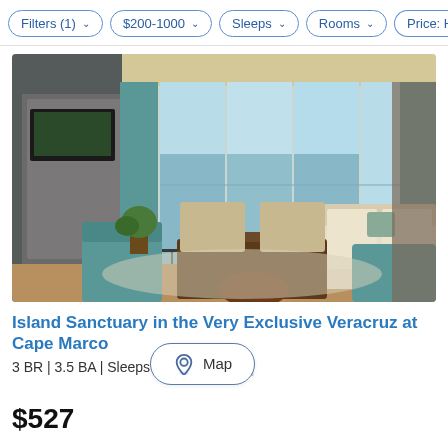Filters (1)  $200-1000  Sleeps  Rooms  Price: High to
[Figure (photo): Interior photo of a luxury condo living room with teal curtains, large windows overlooking ocean balcony, beige sofas, and dark wood coffee table]
Island Sanctuary in the Very Exclusive Veracruz at Cape Marco
3 BR | 3.5 BA | Sleeps 6 | O...
$527